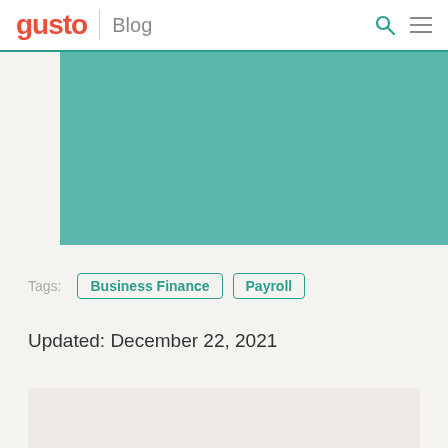gusto | Blog
[Figure (illustration): Teal/turquoise rectangular hero image placeholder]
Tags: Business Finance  Payroll
Updated: December 22, 2021
[Figure (other): Light beige content box placeholder at bottom]